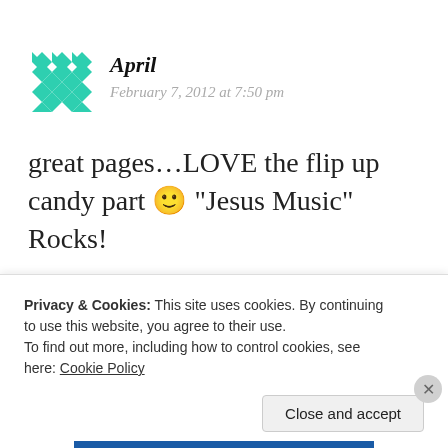April
February 7, 2012 at 7:50 pm
great pages…LOVE the flip up candy part 🙂 “Jesus Music” Rocks!
Privacy & Cookies: This site uses cookies. By continuing to use this website, you agree to their use. To find out more, including how to control cookies, see here: Cookie Policy
Close and accept